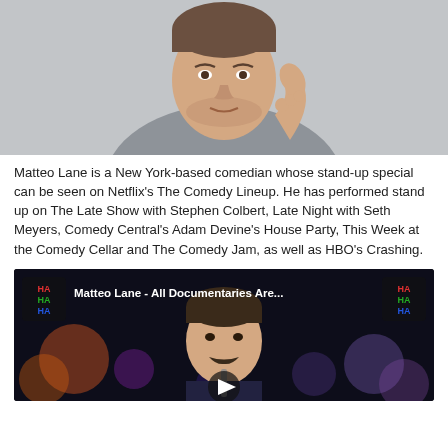[Figure (photo): Headshot of Matteo Lane, a man in a grey shirt with hand raised to chin in a thoughtful pose, against a light grey background]
Matteo Lane is a New York-based comedian whose stand-up special can be seen on Netflix's The Comedy Lineup. He has performed stand up on The Late Show with Stephen Colbert, Late Night with Seth Meyers, Comedy Central's Adam Devine's House Party, This Week at the Comedy Cellar and The Comedy Jam, as well as HBO's Crashing.
[Figure (screenshot): YouTube video thumbnail showing Matteo Lane performing on stage with colorful stage lighting. Title reads 'Matteo Lane - All Documentaries Are...' with HaHaHa comedy logo on left and right sides. Play button visible at bottom center.]